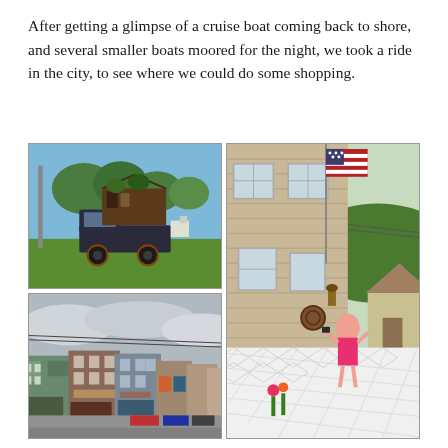After getting a glimpse of a cruise boat coming back to shore, and several smaller boats moored for the night, we took a ride in the city, to see where we could do some shopping.
[Figure (photo): Old dark blue/black truck with a dilapidated wooden structure on top, parked on green grass with trees in the background under a blue sky.]
[Figure (photo): Side of a beige vinyl-sided two-story house with an American flag on a pole. A woman in pink sits on a decorative white lattice fence/porch with flowers. Green hills and neighboring houses visible in the background.]
[Figure (photo): Small-town main street with colorful two and three-story commercial brick buildings, storefronts with awnings, parked cars, cloudy sky.]